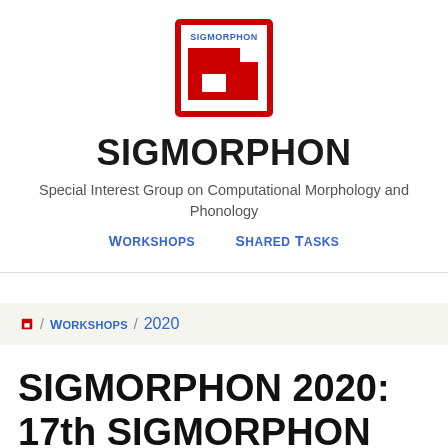[Figure (logo): SIGMORPHON logo: red square border with a red stylized building/letter shape inside, and 'SIGMORPHON' text in blue at top]
SIGMORPHON
Special Interest Group on Computational Morphology and Phonology
Workshops   Shared Tasks
/ Workshops / 2020
SIGMORPHON 2020: 17th SIGMORPHON Workshop on